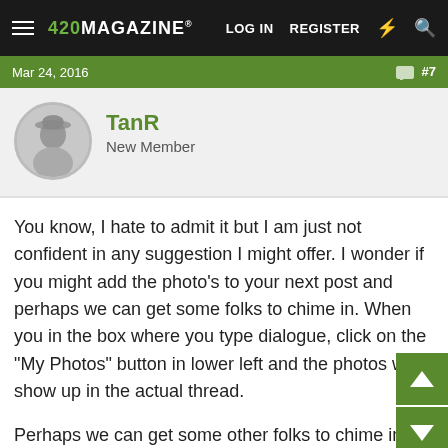420 MAGAZINE® LOG IN REGISTER
Mar 24, 2016 #7
TanR
New Member
You know, I hate to admit it but I am just not confident in any suggestion I might offer. I wonder if you might add the photo's to your next post and perhaps we can get some folks to chime in. When you in the box where you type dialogue, click on the "My Photos" button in lower left and the photos will show up in the actual thread.
Perhaps we can get some other folks to chime in with suggestions. Hopefully they will read that your temperatures are fine, you haven't provided any additional nutrients what was in the fox farm ocean forest and the container provide adequate drainage.
"Governments are not competent and do not have the moral authority to